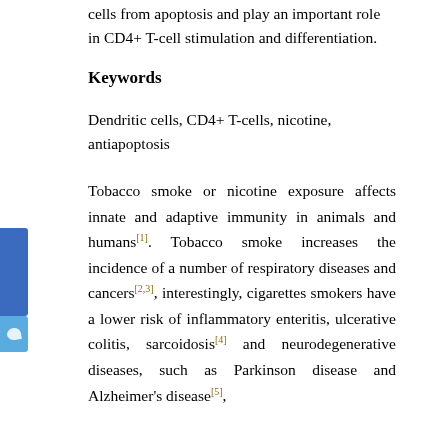cells from apoptosis and play an important role in CD4+ T-cell stimulation and differentiation.
Keywords
Dendritic cells, CD4+ T-cells, nicotine, antiapoptosis
Tobacco smoke or nicotine exposure affects innate and adaptive immunity in animals and humans[1]. Tobacco smoke increases the incidence of a number of respiratory diseases and cancers[2,3], interestingly, cigarettes smokers have a lower risk of inflammatory enteritis, ulcerative colitis, sarcoidosis[4] and neurodegenerative diseases, such as Parkinson disease and Alzheimer's disease[5], suggesting that nicotine has distinct effects on the